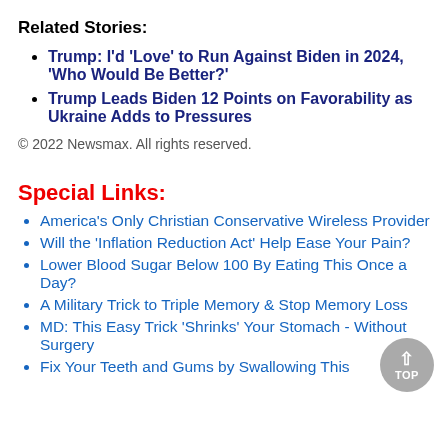Related Stories:
Trump: I'd 'Love' to Run Against Biden in 2024, 'Who Would Be Better?'
Trump Leads Biden 12 Points on Favorability as Ukraine Adds to Pressures
© 2022 Newsmax. All rights reserved.
Special Links:
America's Only Christian Conservative Wireless Provider
Will the 'Inflation Reduction Act' Help Ease Your Pain?
Lower Blood Sugar Below 100 By Eating This Once a Day?
A Military Trick to Triple Memory & Stop Memory Loss
MD: This Easy Trick 'Shrinks' Your Stomach - Without Surgery
Fix Your Teeth and Gums by Swallowing This